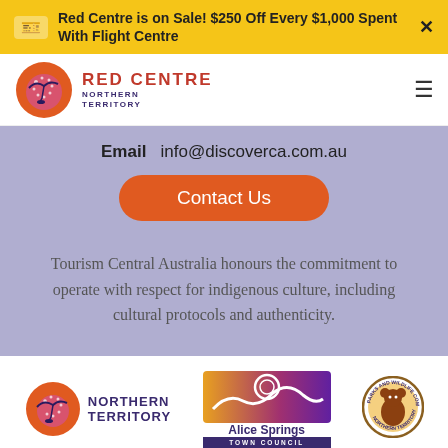Red Centre is on Sale! $250 Off Every $1,000 Spent With Flight Centre
[Figure (logo): Red Centre Northern Territory logo with bird silhouette on orange/pink circle]
Email   info@discoverca.com.au
Contact Us
Tourism Central Australia honours the commitment to operate with respect for indigenous culture, including cultural protocols and authenticity.
[Figure (logo): Northern Territory government logo with bird on orange circle]
[Figure (logo): Alice Springs Town Council logo]
[Figure (logo): Parks and Wildlife Commission Northern Territory logo]
How can we help?